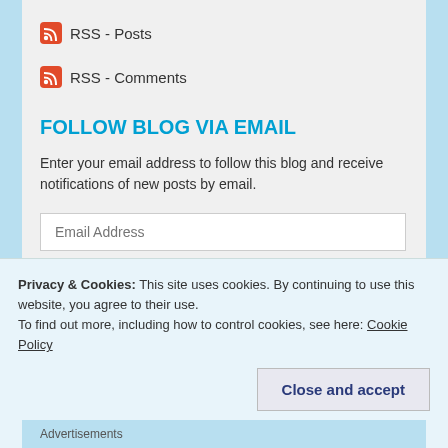RSS - Posts
RSS - Comments
FOLLOW BLOG VIA EMAIL
Enter your email address to follow this blog and receive notifications of new posts by email.
Email Address
Follow
Privacy & Cookies: This site uses cookies. By continuing to use this website, you agree to their use.
To find out more, including how to control cookies, see here: Cookie Policy
Close and accept
Advertisements